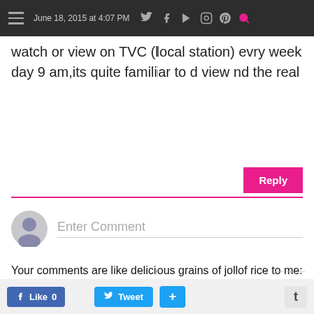June 18, 2015 at 4:07 PM
watch or view on TVC (local station) evry week day 9 am,its quite familiar to d view nd the real
[Figure (screenshot): Reply button and input line area for comment reply]
[Figure (screenshot): Enter Comment placeholder with user avatar icon]
Your comments are like delicious grains of jollof rice to me: please feed me! Send me love mail sisi@sisiyemmie.com / Official business@sisiyemmie.com
Like 0   Tweet   +   t